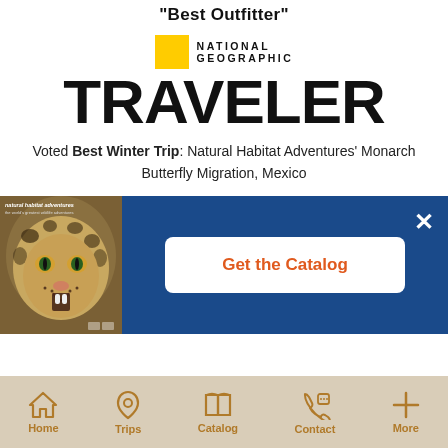"Best Outfitter"
[Figure (logo): National Geographic Traveler logo with yellow rectangle, NATIONAL GEOGRAPHIC text and large TRAVELER title]
Voted Best Winter Trip: Natural Habitat Adventures' Monarch Butterfly Migration, Mexico
[Figure (illustration): Catalog banner with blue background, leopard image on left, Get the Catalog white button, and X close button]
Home  Trips  Catalog  Contact  More